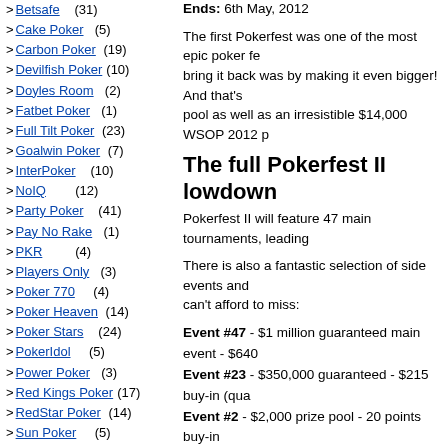> Betsafe (31)
> Cake Poker (5)
> Carbon Poker (19)
> Devilfish Poker (10)
> Doyles Room (2)
> Fatbet Poker (1)
> Full Tilt Poker (23)
> Goalwin Poker (7)
> InterPoker (10)
> NoIQ (12)
> Party Poker (41)
> Pay No Rake (1)
> PKR (4)
> Players Only (3)
> Poker 770 (4)
> Poker Heaven (14)
> Poker Stars (24)
> PokerIdol (5)
> Power Poker (3)
> Red Kings Poker (17)
> RedStar Poker (14)
> Sun Poker (5)
> Titan Poker (14)
> Trading (0)
Ends: 6th May, 2012
The first Pokerfest was one of the most epic poker fe... bring it back was by making it even bigger! And that's pool as well as an irresistible $14,000 WSOP 2012 p
The full Pokerfest II lowdown
Pokerfest II will feature 47 main tournaments, leading
There is also a fantastic selection of side events and can't afford to miss:
Event #47 - $1 million guaranteed main event - $640
Event #23 - $350,000 guaranteed - $215 buy-in (qua
Event #2 - $2,000 prize pool - 20 points buy-in
Event #46 - $50,000 guaranteed - $33 buy-in
Click the tabs above to fully discover the amazing sch entry to Pokerfest II by:
Checking out the leader boards
Qualifying for satellite to the biggest events
Taking down extra prizes in our phenomenal array of
Pokerfest II it's going to rock the poker world even ha